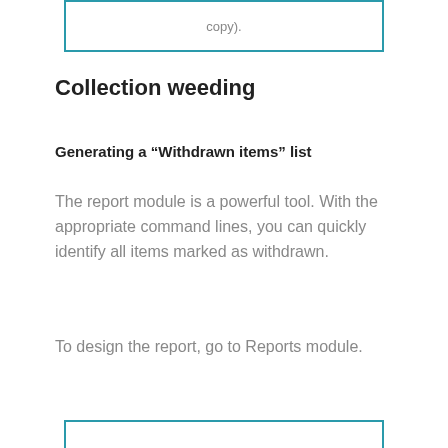[Figure (other): Teal-bordered box at top of page with partially visible text (copy).]
Collection weeding
Generating a “Withdrawn items” list
The report module is a powerful tool. With the appropriate command lines, you can quickly identify all items marked as withdrawn.
To design the report, go to Reports module.
[Figure (other): Teal-bordered box at bottom of page, partially visible.]